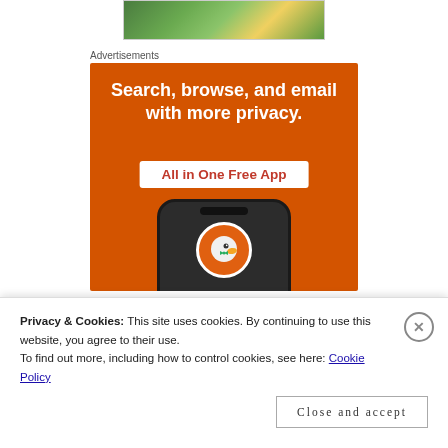[Figure (photo): Partial top image showing outdoor nature/grass scene]
Advertisements
[Figure (illustration): DuckDuckGo advertisement banner on orange background. Text: 'Search, browse, and email with more privacy. All in One Free App'. Shows a smartphone with DuckDuckGo logo and duck mascot.]
Privacy & Cookies: This site uses cookies. By continuing to use this website, you agree to their use.
To find out more, including how to control cookies, see here: Cookie Policy
Close and accept